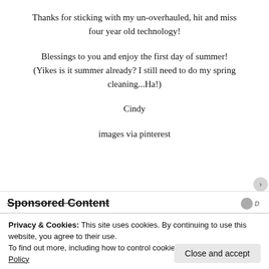Thanks for sticking with my un-overhauled, hit and miss four year old technology!
Blessings to you and enjoy the first day of summer! (Yikes is it summer already? I still need to do my spring cleaning...Ha!)
Cindy
images via pinterest
Sponsored Content
Privacy & Cookies: This site uses cookies. By continuing to use this website, you agree to their use.
To find out more, including how to control cookies, see here: Cookie Policy